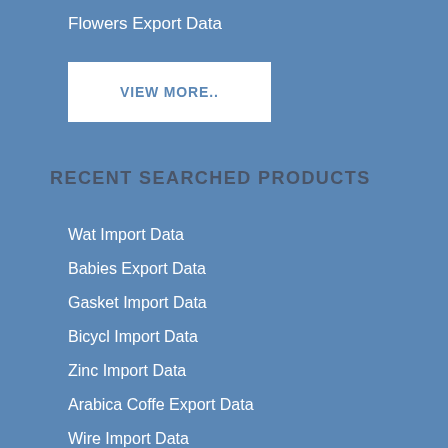Flowers Export Data
VIEW MORE..
RECENT SEARCHED PRODUCTS
Wat Import Data
Babies Export Data
Gasket Import Data
Bicycl Import Data
Zinc Import Data
Arabica Coffe Export Data
Wire Import Data
Agricultural Parts Import Data